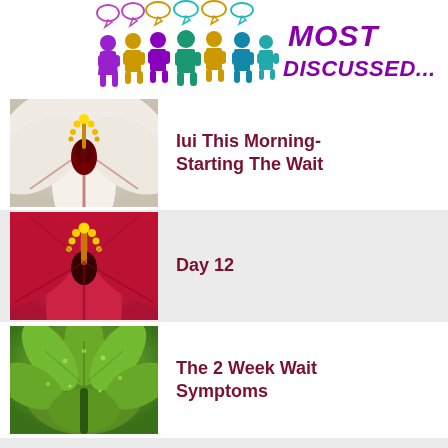[Figure (illustration): Most Discussed header with colorful human figures and speech bubbles, text reading MOST DISCUSSED...]
Iui This Morning- Starting The Wait
Day 12
The 2 Week Wait Symptoms
Ivf Transfer This Morning